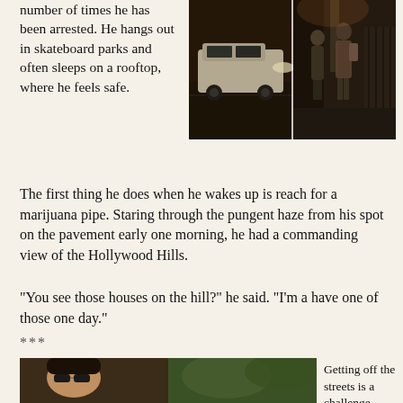number of times he has been arrested. He hangs out in skateboard parks and often sleeps on a rooftop, where he feels safe.
[Figure (photo): Nighttime street scene with a parked SUV on the left and two people standing on the sidewalk at right, urban setting]
The first thing he does when he wakes up is reach for a marijuana pipe. Staring through the pungent haze from his spot on the pavement early one morning, he had a commanding view of the Hollywood Hills.
"You see those houses on the hill?" he said. "I'm a have one of those one day."
***
[Figure (photo): Close-up photo of a young person, partial view, outdoor setting]
Getting off the streets is a challenge for...